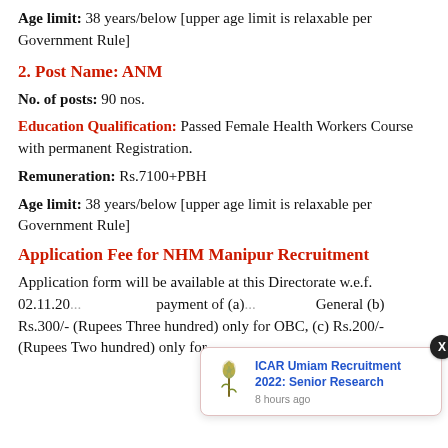Age limit: 38 years/below [upper age limit is relaxable per Government Rule]
2. Post Name: ANM
No. of posts: 90 nos.
Education Qualification: Passed Female Health Workers Course with permanent Registration.
Remuneration: Rs.7100+PBH
Age limit: 38 years/below [upper age limit is relaxable per Government Rule]
Application Fee for NHM Manipur Recruitment
Application form will be available at this Directorate w.e.f. 02.11.20... payment of (a) ... General (b) Rs.300/- (Rupees Three hundred) only for OBC, (c) Rs.200/- (Rupees Two hundred) only for